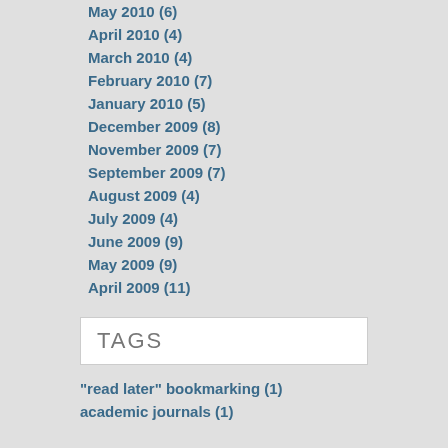May 2010 (6)
April 2010 (4)
March 2010 (4)
February 2010 (7)
January 2010 (5)
December 2009 (8)
November 2009 (7)
September 2009 (7)
August 2009 (4)
July 2009 (4)
June 2009 (9)
May 2009 (9)
April 2009 (11)
TAGS
"read later" bookmarking (1)
academic journals (1)